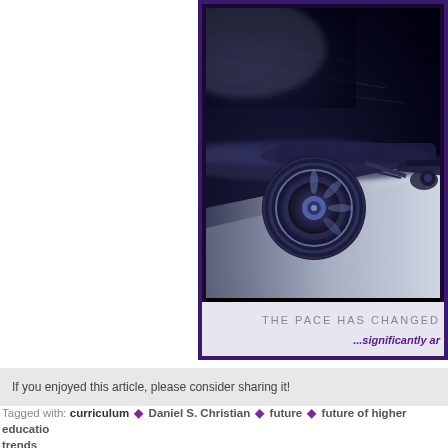[Figure (photo): A blurred motion photo of a racing Formula 1 car on a track, suggesting high speed. The photo is framed inside a dark purple-bordered slide presentation element. Below the photo is a light gray bar with text 'THE PACE HAS CHANGED' and '...significantly ar' in italic purple.]
If you enjoyed this article, please consider sharing it!
Tagged with: curriculum • Daniel S. Christian • future • future of higher education • trends